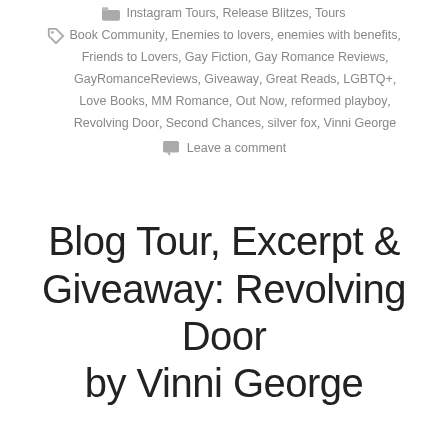Instagram Tours, Release Blitzes, Tours
Book Community, Enemies to lovers, enemies with benefits, Friends to Lovers, Gay Fiction, Gay Romance Reviews, GayRomanceReviews, Giveaway, Great Reads, LGBTQ+, Love Books, MM Romance, Out Now, reformed playboy, Revolving Door, Second Chances, silver fox, Vinni George
Leave a comment
Blog Tour, Excerpt & Giveaway: Revolving Door by Vinni George